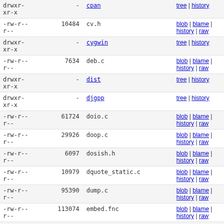| permissions | size | name | links |
| --- | --- | --- | --- |
| drwxr-xr-x | - | cpan | tree | history |
| -rw-r--r-- | 10484 | cv.h | blob | blame | history | raw |
| drwxr-xr-x | - | cygwin | tree | history |
| -rw-r--r-- | 7634 | deb.c | blob | blame | history | raw |
| drwxr-xr-x | - | dist | tree | history |
| drwxr-xr-x | - | djgpp | tree | history |
| -rw-r--r-- | 61724 | doio.c | blob | blame | history | raw |
| -rw-r--r-- | 29926 | doop.c | blob | blame | history | raw |
| -rw-r--r-- | 6097 | dosish.h | blob | blame | history | raw |
| -rw-r--r-- | 10979 | dquote_static.c | blob | blame | history | raw |
| -rw-r--r-- | 95390 | dump.c | blob | blame | history | raw |
| -rw-r--r-- | 113074 | embed.fnc | blob | blame | history | raw |
| -rw-r--r-- | 88315 | embed.h | blob | blame | history | raw |
| -rw-r--r-- | 17888 | embedvar.h | blob | blame | history | raw |